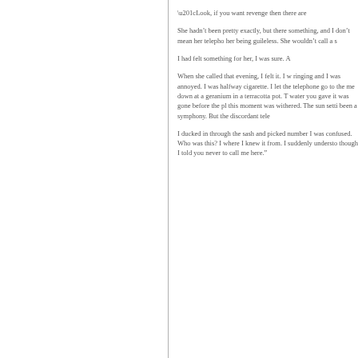“Look, if you want revenge then there are
She hadn’t been pretty exactly, but there something, and I don’t mean her telepho her being guileless. She wouldn’t call a s
I had felt something for her, I was sure. A
When she called that evening, I felt it. I w ringing and I was annoyed. I was halfway cigarette. I let the telephone go to the me down at a geranium in a terracotta pot. T water you gave it was gone before the pl this moment was withered. The sun setti been a symphony. But the discordant tele
I ducked in through the sash and picked number I was confused. Who was this? I where I knew it from. I suddenly understo thought I told you never to call me here.”